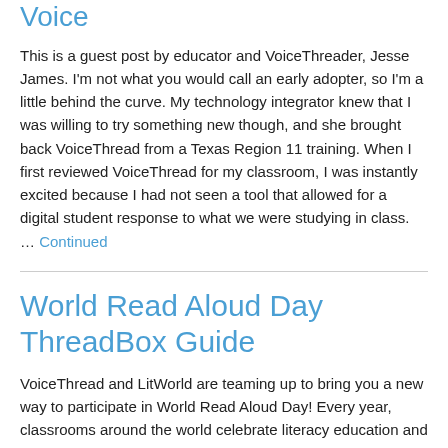Voice
This is a guest post by educator and VoiceThreader, Jesse James. I'm not what you would call an early adopter, so I'm a little behind the curve. My technology integrator knew that I was willing to try something new though, and she brought back VoiceThread from a Texas Region 11 training. When I first reviewed VoiceThread for my classroom, I was instantly excited because I had not seen a tool that allowed for a digital student response to what we were studying in class. … Continued
World Read Aloud Day ThreadBox Guide
VoiceThread and LitWorld are teaming up to bring you a new way to participate in World Read Aloud Day! Every year, classrooms around the world celebrate literacy education and this year you can share your love of reading